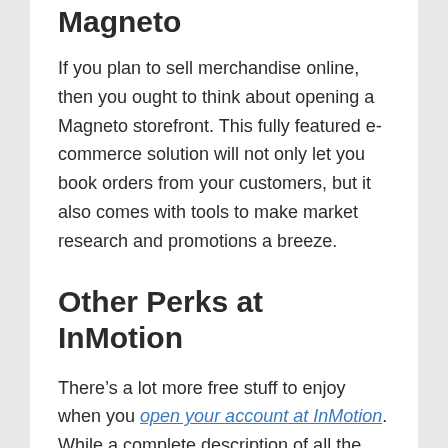Magneto
If you plan to sell merchandise online, then you ought to think about opening a Magneto storefront. This fully featured e-commerce solution will not only let you book orders from your customers, but it also comes with tools to make market research and promotions a breeze.
Other Perks at InMotion
There’s a lot more free stuff to enjoy when you open your account at InMotion. While a complete description of all the goodies you get is beyond the scope of this InMotion Hosting review, a few of them